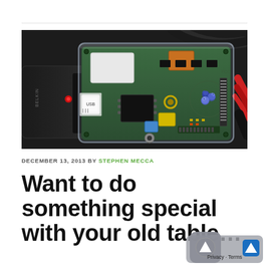[Figure (photo): A Raspberry Pi single-board computer in a clear acrylic case, connected to a black Belkin USB hub with a red light indicator, with red and black cables visible on the right side.]
DECEMBER 13, 2013 BY STEPHEN MECCA
Want to do something special with your old table…